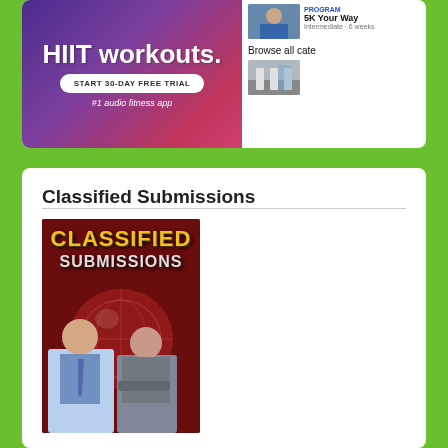[Figure (screenshot): Advertisement banner for a fitness app showing 'HIIT workouts', 'START 30-DAY FREE TRIAL', '#1 audio fitness app' with purple/pink gradient background. Right side shows program thumbnails, 'PROGRAM', '5K Your Way', 'Intermediate · 6 weeks', 'Browse all cate' text and a street/running image.]
Classified Submissions
[Figure (photo): Classified Submissions promotional image with dark red background, gold/yellow 'CLASSIFIED' text and silver 'SUBMISSIONS' text, a globe graphic in the background, and two business people (man in blue shirt and tie, woman in grey jacket with arms crossed) in the foreground.]